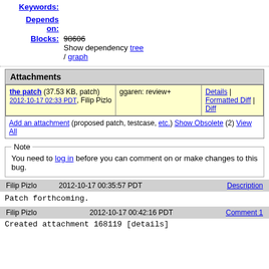Keywords:
Depends on:
Blocks: 98606
Show dependency tree / graph
| Attachment | Review | Actions |
| --- | --- | --- |
| the patch (37.53 KB, patch) 2012-10-17 02:33 PDT, Filip Pizlo | ggaren: review+ | Details | Formatted Diff | Diff |
Add an attachment (proposed patch, testcase, etc.) Show Obsolete (2) View All
Note
You need to log in before you can comment on or make changes to this bug.
Filip Pizlo   2012-10-17 00:35:57 PDT   Description
Patch forthcoming.
Filip Pizlo   2012-10-17 00:42:16 PDT   Comment 1
Created attachment 168119 [details]